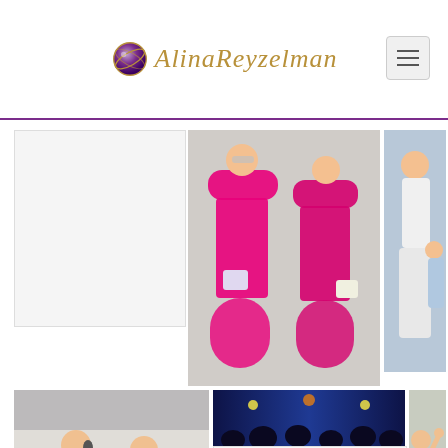[Figure (logo): Alina Reyzelman website logo with decorative orb and cursive script name]
[Figure (photo): Two women in matching bright pink/fuchsia outfits standing together outdoors]
[Figure (photo): Kate Middleton smiling in white outfit on balcony with children]
[Figure (photo): Young woman in pink dress and man in navy suit performing on stage with microphone]
[Figure (photo): Dark blue concert/event stage with crowd]
[Figure (photo): Women waving at an outdoor event, including one wearing sunglasses in floral dress]
[Figure (photo): Crowd of people at outdoor event]
[Figure (photo): Woman in large white hat, Meghan Markle style, with bokeh background]